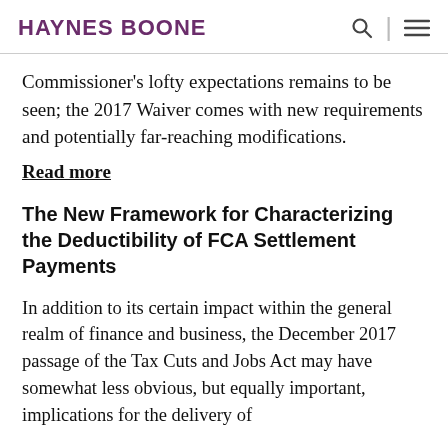HAYNES BOONE
Commissioner's lofty expectations remains to be seen; the 2017 Waiver comes with new requirements and potentially far-reaching modifications.
Read more
The New Framework for Characterizing the Deductibility of FCA Settlement Payments
In addition to its certain impact within the general realm of finance and business, the December 2017 passage of the Tax Cuts and Jobs Act may have somewhat less obvious, but equally important, implications for the delivery of